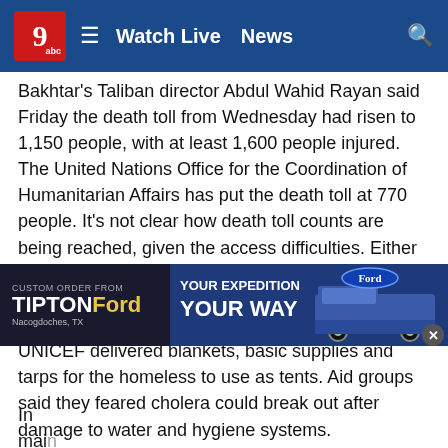Watch Live  News
Bakhtar's Taliban director Abdul Wahid Rayan said Friday the death toll from Wednesday had risen to 1,150 people, with at least 1,600 people injured. The United Nations Office for the Coordination of Humanitarian Affairs has put the death toll at 770 people. It's not clear how death toll counts are being reached, given the access difficulties. Either toll would make the quake Afghanistan's deadliest in two decades.
At Urgan, the main city in Paktika province, U.N. World Health Organization medical supplies were unloaded at the main hospital. In quake-hit villages, UNICEF delivered blankets, basic supplies and tarps for the homeless to use as tents. Aid groups said they feared cholera could break out after damage to water and hygiene systems.
[Figure (other): Advertisement banner for Tipton Ford, Nacogdoches TX: 'Custom Order From Tipton Ford — Your Expedition Your Way' with truck image]
In mai... groups...